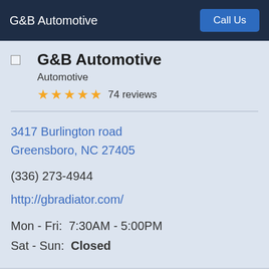G&B Automotive | Call Us
G&B Automotive
Automotive
★★★★★ 74 reviews
3417 Burlington road
Greensboro, NC 27405
(336) 273-4944
http://gbradiator.com/
Mon - Fri:  7:30AM - 5:00PM
Sat - Sun:  Closed